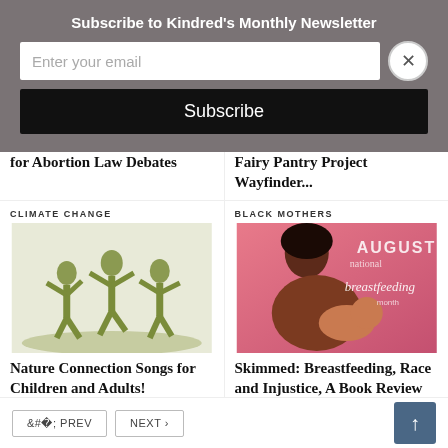Subscribe to Kindred's Monthly Newsletter
Enter your email
Subscribe
for Abortion Law Debates
Fairy Pantry Project Wayfinder...
CLIMATE CHANGE
[Figure (photo): Silhouettes of children playing outdoors in nature, jumping with arms raised, rendered in green/olive tones]
Nature Connection Songs for Children and Adults!
BLACK MOTHERS
[Figure (illustration): Illustration of a Black mother breastfeeding her baby, with text 'August National Breastfeeding Month' on a pink/rose background]
Skimmed: Breastfeeding, Race and Injustice, A Book Review
< PREV
NEXT >